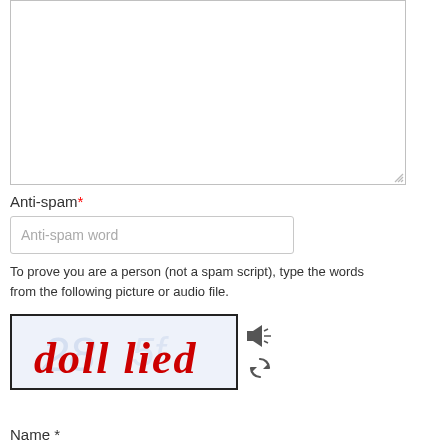[Figure (screenshot): Empty textarea input box with resize handle at bottom-right]
Anti-spam*
[Figure (screenshot): Text input field with placeholder text 'Anti-spam word']
To prove you are a person (not a spam script), type the words from the following picture or audio file.
[Figure (screenshot): CAPTCHA image showing handwritten red text 'doll lied' with audio and refresh icons]
Name *
[Figure (screenshot): Empty text input field for Name]